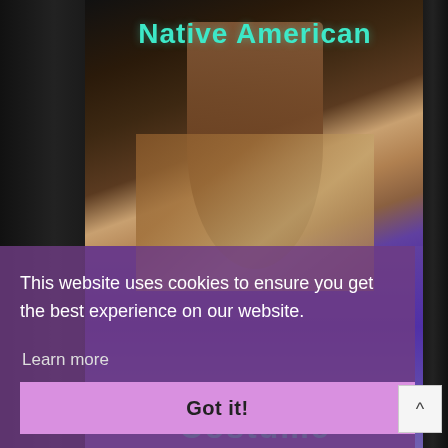[Figure (photo): A person wearing a Native American costume (brown fringed vest over white shirt, long hair in ponytail) viewed from behind, standing in a shop with shelves of figurines and collectibles in the background. Teal 'Native American' text overlaid at top and partial 'Costume' text at bottom.]
This website uses cookies to ensure you get the best experience on our website.
Learn more
Got it!